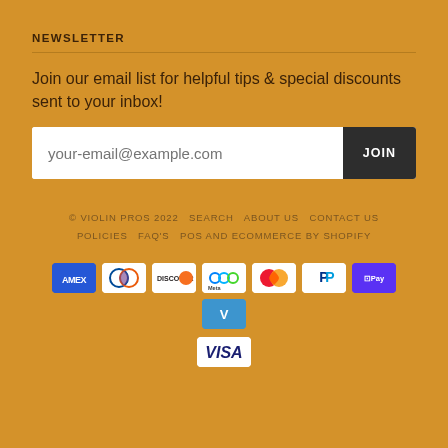NEWSLETTER
Join our email list for helpful tips & special discounts sent to your inbox!
your-email@example.com [input field] JOIN [button]
© VIOLIN PROS 2022   SEARCH   ABOUT US   CONTACT US   POLICIES   FAQ'S   POS AND ECOMMERCE BY SHOPIFY
[Figure (other): Payment method icons: American Express, Diners Club, Discover, Meta Pay, Mastercard, PayPal, Shop Pay, Venmo, Visa]